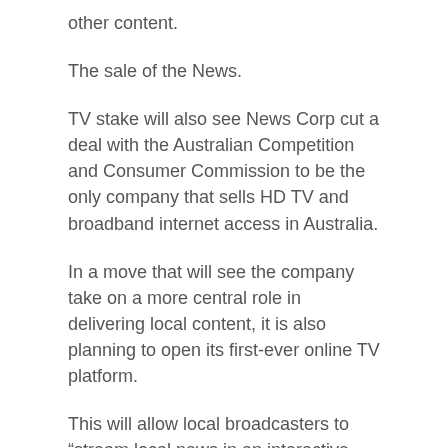other content.
The sale of the News.
TV stake will also see News Corp cut a deal with the Australian Competition and Consumer Commission to be the only company that sells HD TV and broadband internet access in Australia.
In a move that will see the company take on a more central role in delivering local content, it is also planning to open its first-ever online TV platform.
This will allow local broadcasters to “stream local news in an interactive, immersive and mobile manner” on its HD service.
While it is still a minority player in the Australian TV market, it will have an edge over rivals, including Telstra,